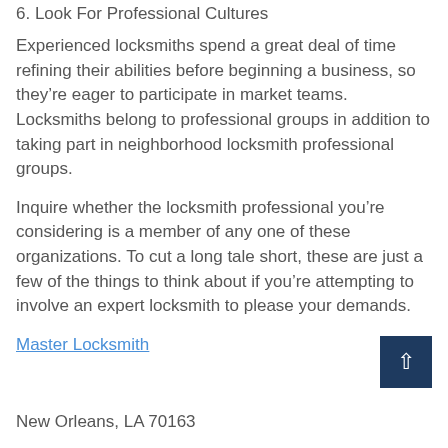6. Look For Professional Cultures
Experienced locksmiths spend a great deal of time refining their abilities before beginning a business, so they’re eager to participate in market teams. Locksmiths belong to professional groups in addition to taking part in neighborhood locksmith professional groups.
Inquire whether the locksmith professional you’re considering is a member of any one of these organizations. To cut a long tale short, these are just a few of the things to think about if you’re attempting to involve an expert locksmith to please your demands.
Master Locksmith
New Orleans, LA 70163